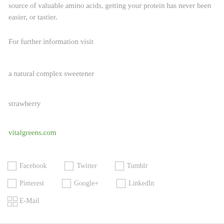source of valuable amino acids, getting your protein has never been easier, or tastier.
For further information visit
a natural complex sweetener
strawberry
vitalgreens.com
Facebook
Twitter
Tumblr
Pinterest
Google+
LinkedIn
E-Mail